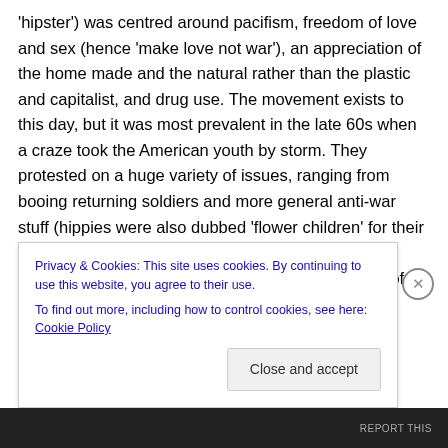'hipster') was centred around pacifism, freedom of love and sex (hence 'make love not war'), an appreciation of the home made and the natural rather than the plastic and capitalist, and drug use. The movement exists to this day, but it was most prevalent in the late 60s when a craze took the American youth by storm. They protested on a huge variety of issues, ranging from booing returning soldiers and more general anti-war stuff (hippies were also dubbed 'flower children' for their practice of giving flowers to police officers at such demonstrations) to demonstrations on the banning of LSD or 'acid', one of their more commonly
Privacy & Cookies: This site uses cookies. By continuing to use this website, you agree to their use.
To find out more, including how to control cookies, see here: Cookie Policy
Close and accept